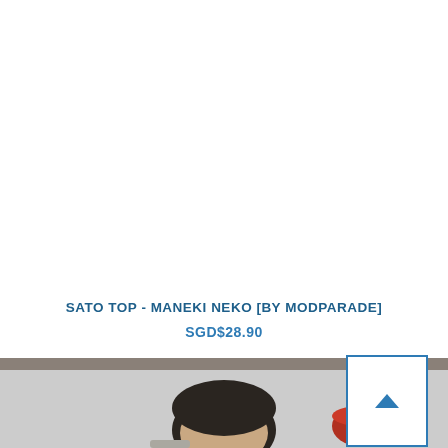SATO TOP - MANEKI NEKO [BY MODPARADE]
SGD$28.90
[Figure (photo): Photo of a person with dark short hair, appearing to be in a kitchen or indoor setting with a red bowl visible in the background.]